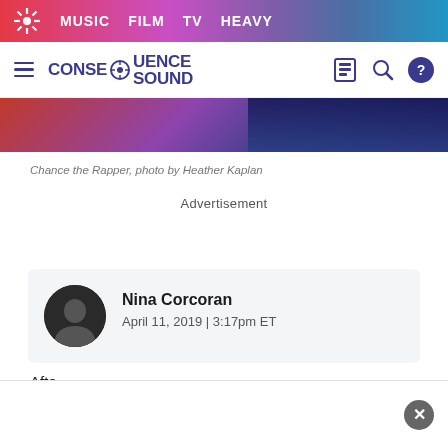MUSIC  FILM  TV  HEAVY
CONSEQUENCE SOUND
[Figure (photo): Partial photo of Chance the Rapper performing on stage, colorful background]
Chance the Rapper, photo by Heather Kaplan
Advertisement
Nina Corcoran
April 11, 2019 | 3:17pm ET
Afte...